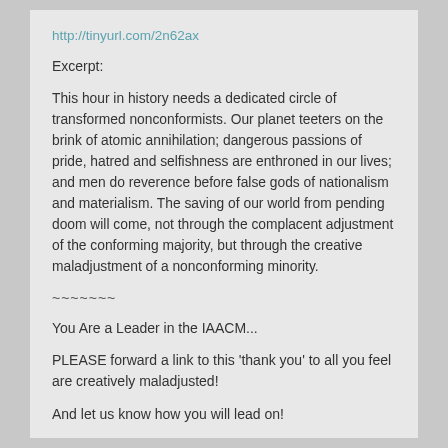http://tinyurl.com/2n62ax
Excerpt:
This hour in history needs a dedicated circle of transformed nonconformists. Our planet teeters on the brink of atomic annihilation; dangerous passions of pride, hatred and selfishness are enthroned in our lives; and men do reverence before false gods of nationalism and materialism. The saving of our world from pending doom will come, not through the complacent adjustment of the conforming majority, but through the creative maladjustment of a nonconforming minority.
~~~~~~~
You Are a Leader in the IAACM...
PLEASE forward a link to this 'thank you' to all you feel are creatively maladjusted!
And let us know how you will lead on!